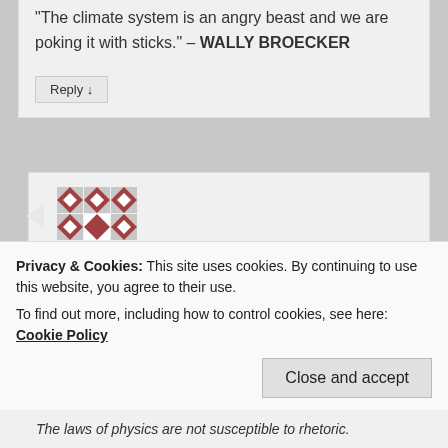"The climate system is an angry beast and we are poking it with sticks." – WALLY BROECKER
Reply ↓
[Figure (illustration): Avatar image: a decorative geometric pattern in dark red/maroon and white, arranged in a 3x3 grid of diamond and cross shapes.]
frank -- Decoding SwiftHack on Dec 28, 2010 at 9:39 am said:
Kate:
Privacy & Cookies: This site uses cookies. By continuing to use this website, you agree to their use.
To find out more, including how to control cookies, see here: Cookie Policy
Close and accept
The laws of physics are not susceptible to rhetoric.